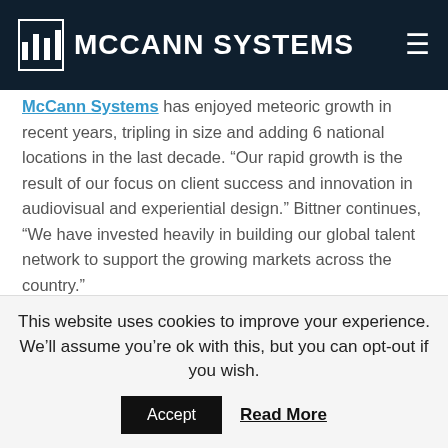McCann Systems
McCann Systems has enjoyed meteoric growth in recent years, tripling in size and adding 6 national locations in the last decade. “Our rapid growth is the result of our focus on client success and innovation in audiovisual and experiential design.” Bittner continues, “We have invested heavily in building our global talent network to support the growing markets across the country.”
The design-build firm has been recognized for its experience and insight across a wide range of verticals. Most recently, with almost two decades of experience in
This website uses cookies to improve your experience. We’ll assume you’re ok with this, but you can opt-out if you wish.
Accept   Read More